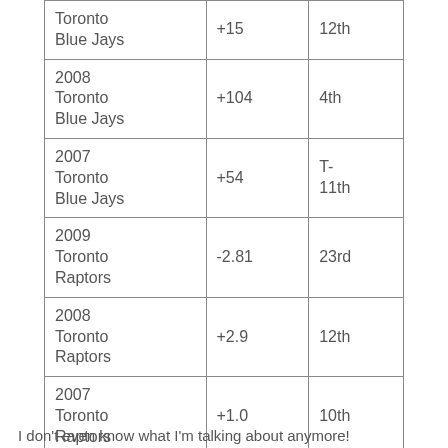| Toronto Blue Jays | +15 | 12th |
| 2008 Toronto Blue Jays | +104 | 4th |
| 2007 Toronto Blue Jays | +54 | T-11th |
| 2009 Toronto Raptors | -2.81 | 23rd |
| 2008 Toronto Raptors | +2.9 | 12th |
| 2007 Toronto Raptors | +1.0 | 10th |
I don't even know what I'm talking about anymore!